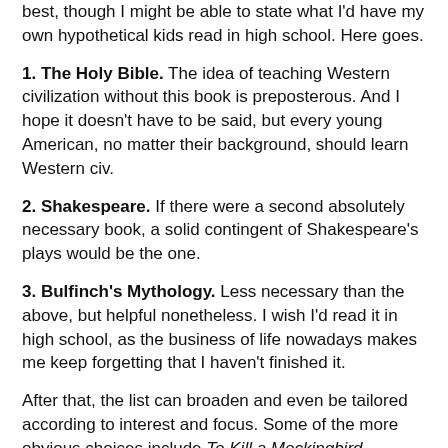best, though I might be able to state what I'd have my own hypothetical kids read in high school. Here goes.
1. The Holy Bible. The idea of teaching Western civilization without this book is preposterous. And I hope it doesn't have to be said, but every young American, no matter their background, should learn Western civ.
2. Shakespeare. If there were a second absolutely necessary book, a solid contingent of Shakespeare's plays would be the one.
3. Bulfinch's Mythology. Less necessary than the above, but helpful nonetheless. I wish I'd read it in high school, as the business of life nowadays makes me keep forgetting that I haven't finished it.
After that, the list can broaden and even be tailored according to interest and focus. Some of the more obvious choices include To Kill a Mockingbird, several of Mark Twain's works, Austen and Dickens, some of Lewis' works, The Lord of the Rings, Tolstoy and/or Dostoevsky, possibly